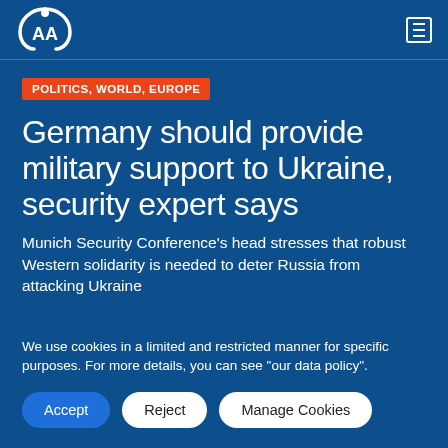AA (Anadolu Agency) logo and navigation
POLITICS, WORLD, EUROPE
Germany should provide military support to Ukraine, security expert says
Munich Security Conference's head stresses that robust Western solidarity is needed to deter Russia from attacking Ukraine
We use cookies in a limited and restricted manner for specific purposes. For more details, you can see "our data policy".
Accept
Reject
Manage Cookies